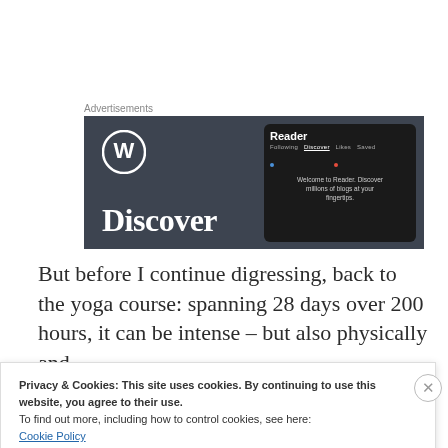Advertisements
[Figure (screenshot): WordPress Reader advertisement banner showing the WordPress logo, 'Discover' text in large white font, and a phone mockup showing the Reader interface with 'Following', 'Discover', 'Likes', 'Saved' tabs and text 'Welcome to Reader. Discover millions of blogs at your fingertips.']
But before I continue digressing, back to the yoga course: spanning 28 days over 200 hours, it can be intense – but also physically and
Privacy & Cookies: This site uses cookies. By continuing to use this website, you agree to their use.
To find out more, including how to control cookies, see here:
Cookie Policy
Close and accept